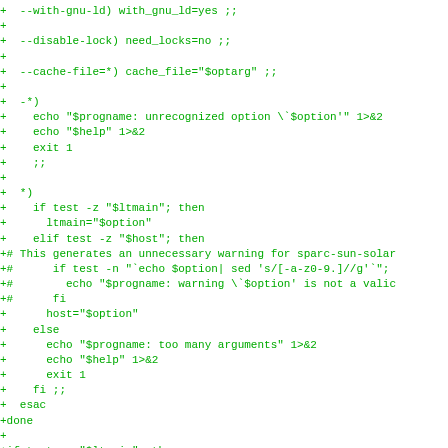[Figure (screenshot): A code diff snippet showing shell script additions (lines prefixed with '+') in green monospace font on white background. The code shows option parsing logic for --with-gnu-ld, --disable-lock, --cache-file options, a -* case for unrecognized options, a *) case handling ltmain/host assignment, and a final test for $ltmain.]